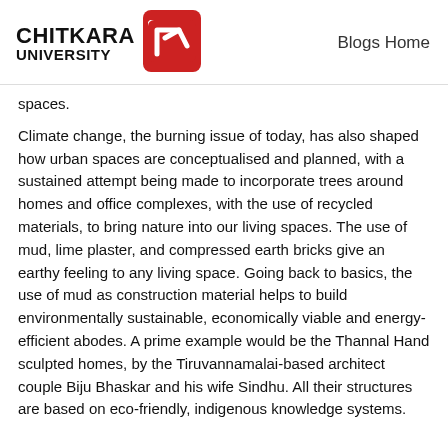CHITKARA UNIVERSITY | Blogs Home
spaces.
Climate change, the burning issue of today, has also shaped how urban spaces are conceptualised and planned, with a sustained attempt being made to incorporate trees around homes and office complexes, with the use of recycled materials, to bring nature into our living spaces. The use of mud, lime plaster, and compressed earth bricks give an earthy feeling to any living space. Going back to basics, the use of mud as construction material helps to build environmentally sustainable, economically viable and energy-efficient abodes. A prime example would be the Thannal Hand sculpted homes, by the Tiruvannamalai-based architect couple Biju Bhaskar and his wife Sindhu. All their structures are based on eco-friendly, indigenous knowledge systems.